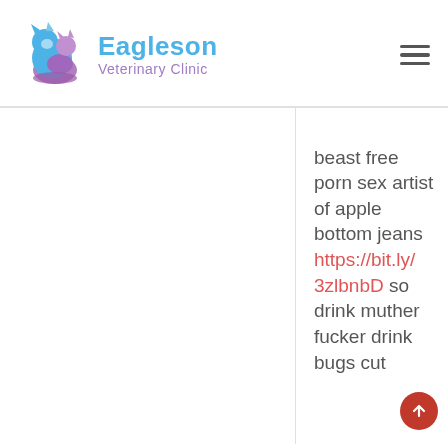[Figure (logo): Eagleson Veterinary Clinic logo with a blue and purple animal silhouette and the clinic name in blue and purple text]
beast free porn sex artist of apple bottom jeans https://bit.ly/3zlbnbD so drink muther fucker drink bugs cut